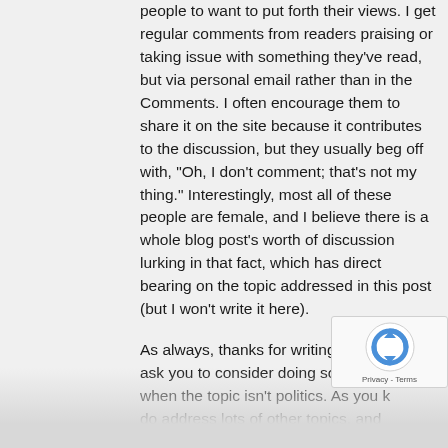people to want to put forth their views. I get regular comments from readers praising or taking issue with something they've read, but via personal email rather than in the Comments. I often encourage them to share it on the site because it contributes to the discussion, but they usually beg off with, "Oh, I don't comment; that's not my thing." Interestingly, most all of these people are female, and I believe there is a whole blog post's worth of discussion lurking in that fact, which has direct bearing on the topic addressed in this post (but I won't write it here).
As always, thanks for writing. I would only ask you to consider doing so more often when the topic isn't politics. As you know, do address lots of other topics, and ...